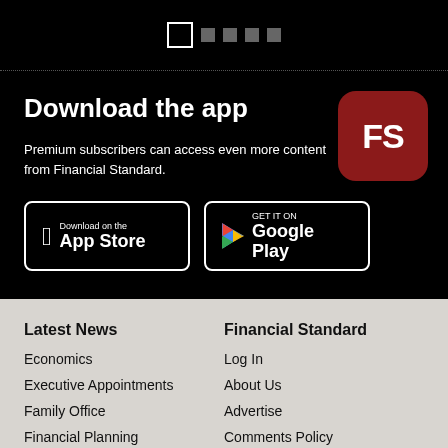[Figure (other): Pagination dot indicators on black background — one white outlined square and four grey filled squares]
Download the app
[Figure (logo): FS logo — white letters FS on a dark red rounded square]
Premium subscribers can access even more content from Financial Standard.
[Figure (other): App Store download button]
[Figure (other): Google Play download button]
Latest News
Financial Standard
Economics
Log In
Executive Appointments
About Us
Family Office
Advertise
Financial Planning
Comments Policy
Insurance
Contact
Investment
Privacy Policy